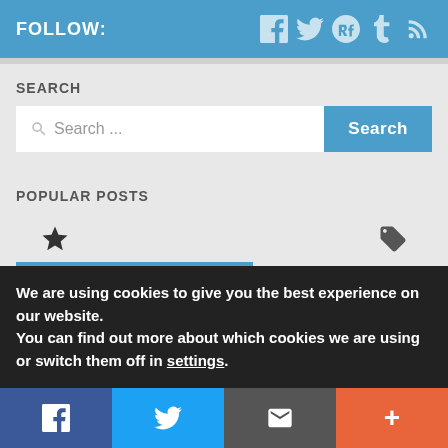FOLLOW:
SEARCH
Search ...
POPULAR POSTS
We are using cookies to give you the best experience on our website.
You can find out more about which cookies we are using or switch them off in settings.